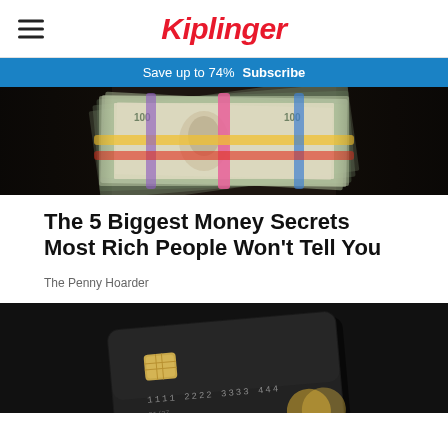Kiplinger
Save up to 74%  Subscribe
[Figure (photo): Bundles of US dollar bills stacked and bound with rubber bands, fanned out against a dark background]
The 5 Biggest Money Secrets Most Rich People Won't Tell You
The Penny Hoarder
[Figure (photo): A matte black credit card with gold chip and embossed numbers on a dark background with gold accents]